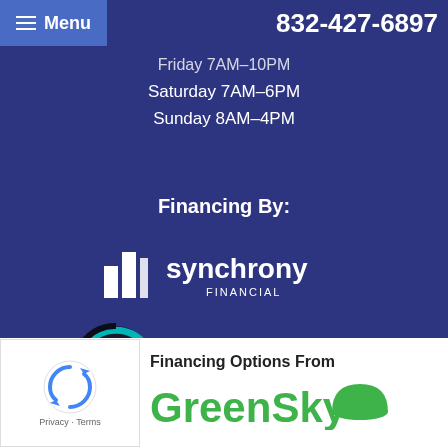Menu | 832-427-6897
Friday 7AM–10PM
Saturday 7AM–6PM
Sunday 8AM–4PM
Financing By:
[Figure (logo): Synchrony Financial logo — white bar chart icon and 'synchrony FINANCIAL' wordmark]
[Figure (logo): Optimus logo — dark circular speedometer icon with 'OPTIMUS™ CONTRACTOR FINANCING MADE EASY' text]
[Figure (logo): reCAPTCHA widget — Privacy · Terms]
Financing Options From
[Figure (logo): GreenSky logo — green dome/hat icon and 'GreenSky' wordmark in green]